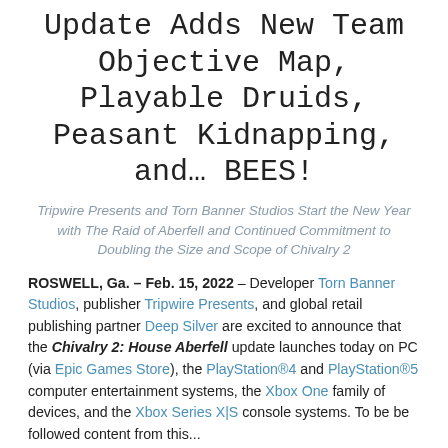Update Adds New Team Objective Map, Playable Druids, Peasant Kidnapping, and… BEES!
Tripwire Presents and Torn Banner Studios Start the New Year with The Raid of Aberfell and Continued Commitment to Doubling the Size and Scope of Chivalry 2
ROSWELL, Ga. – Feb. 15, 2022 – Developer Torn Banner Studios, publisher Tripwire Presents, and global retail publishing partner Deep Silver are excited to announce that the Chivalry 2: House Aberfell update launches today on PC (via Epic Games Store), the PlayStation®4 and PlayStation®5 computer entertainment systems, the Xbox One family of devices, and the Xbox Series X|S console systems. To be be followed content from this...